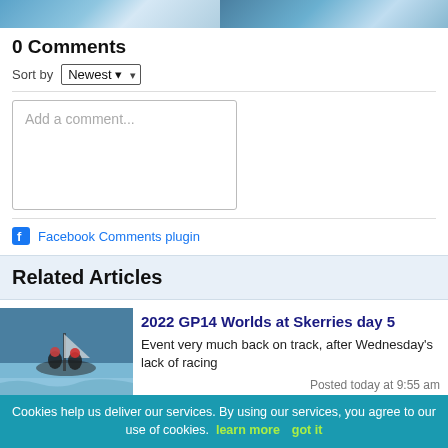[Figure (photo): Two sailing photos at top of page, cropped]
0 Comments
Sort by Newest
[Figure (screenshot): Add a comment... text input box]
Facebook Comments plugin
Related Articles
[Figure (photo): Sailors in a GP14 dinghy racing]
2022 GP14 Worlds at Skerries day 5
Event very much back on track, after Wednesday's lack of racing
Posted today at 9:55 am
[Figure (photo): Sailing boats close-up]
2022 GP14 Worlds at Skerries day 3
A big day in a big sea as the breeze finally
Cookies help us deliver our services. By using our services, you agree to our use of cookies. learn more  got it